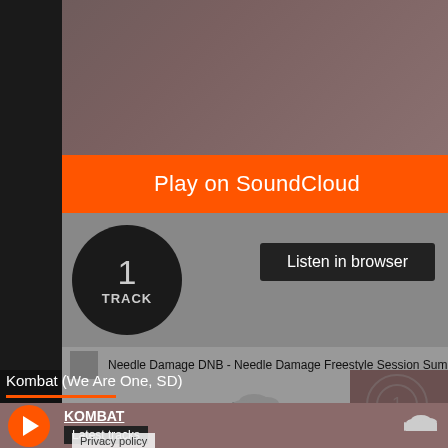Play on SoundCloud
1 TRACK
Listen in browser
Needle Damage DNB - Needle Damage Freestyle Session Summer '09
[Figure (screenshot): SoundCloud waveform cloud logo icon in gray]
Privacy policy
Kombat (We Are One, SD)
KOMBAT
Latest tracks